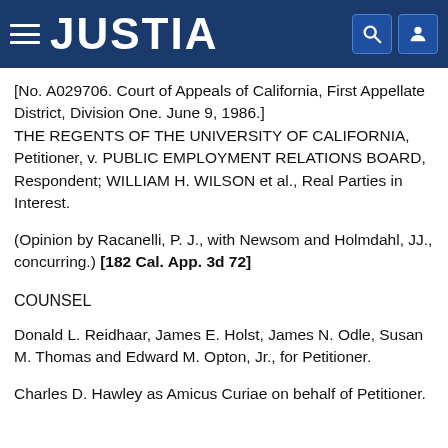JUSTIA
[No. A029706. Court of Appeals of California, First Appellate District, Division One. June 9, 1986.] THE REGENTS OF THE UNIVERSITY OF CALIFORNIA, Petitioner, v. PUBLIC EMPLOYMENT RELATIONS BOARD, Respondent; WILLIAM H. WILSON et al., Real Parties in Interest.
(Opinion by Racanelli, P. J., with Newsom and Holmdahl, JJ., concurring.) [182 Cal. App. 3d 72]
COUNSEL
Donald L. Reidhaar, James E. Holst, James N. Odle, Susan M. Thomas and Edward M. Opton, Jr., for Petitioner.
Charles D. Hawley as Amicus Curiae on behalf of Petitioner.